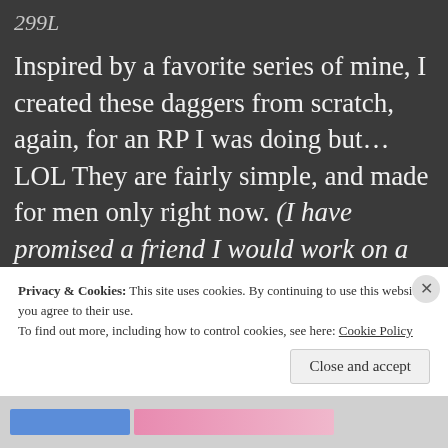299L
Inspired by a favorite series of mine, I created these daggers from scratch, again, for an RP I was doing but… LOL They are fairly simple, and made for men only right now. (I have promised a friend I would work on a female version soon!) The included HUD, swaps the daggers from the holster, to your hands and puts you in a
Privacy & Cookies: This site uses cookies. By continuing to use this website, you agree to their use.
To find out more, including how to control cookies, see here: Cookie Policy
Close and accept